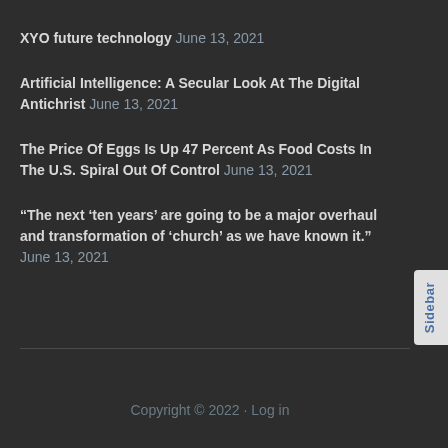XYO future technology June 13, 2021
Artificial Intelligence: A Secular Look At The Digital Antichrist June 13, 2021
The Price Of Eggs Is Up 47 Percent As Food Costs In The U.S. Spiral Out Of Control June 13, 2021
“The next ‘ten years’ are going to be a major overhaul and transformation of ‘church’ as we have known it.” June 13, 2021
Copyright © 2022 · Log in